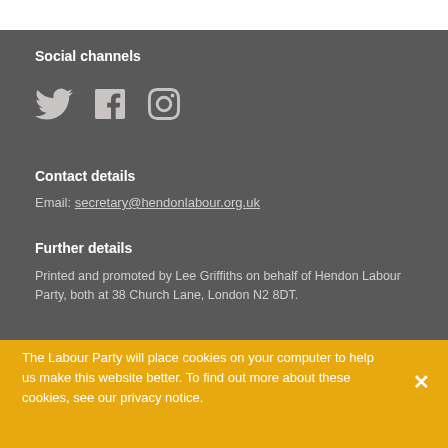Social channels
[Figure (illustration): Three social media icons: Twitter bird, Facebook 'f', and Instagram camera outline, displayed in light grey on dark grey background]
Contact details
Email: secretary@hendonlabour.org.uk
Further details
Printed and promoted by Lee Griffiths on behalf of Hendon Labour Party, both at 38 Church Lane, London N2 8DT.
The Labour Party will place cookies on your computer to help us make this website better. To find out more about these cookies, see our privacy notice.